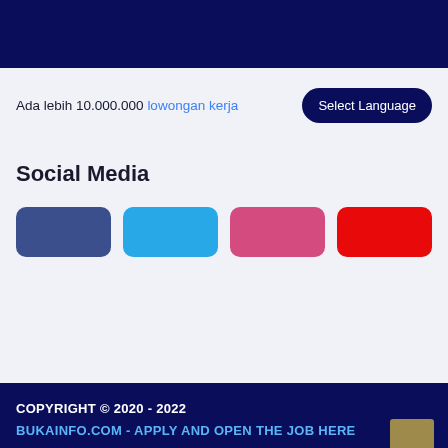Ada lebih 10.000.000 lowongan kerja
Social Media
[Figure (other): Four colored social media buttons: Facebook (dark blue), Twitter (light blue), Instagram (pink), YouTube (red)]
COPYRIGHT © 2020 - 2022
BUKAINFO.COM - APPLY AND OPEN THE JOB HERE